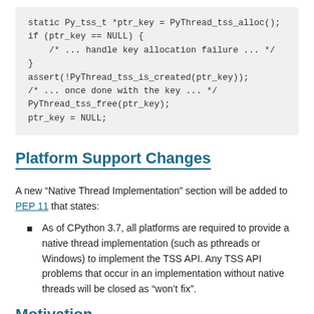static Py_tss_t *ptr_key = PyThread_tss_alloc();
if (ptr_key == NULL) {
    /* ... handle key allocation failure ... */
}
assert(!PyThread_tss_is_created(ptr_key));
/* ... once done with the key ... */
PyThread_tss_free(ptr_key);
ptr_key = NULL;
Platform Support Changes
A new “Native Thread Implementation” section will be added to PEP 11 that states:
As of CPython 3.7, all platforms are required to provide a native thread implementation (such as pthreads or Windows) to implement the TSS API. Any TSS API problems that occur in an implementation without native threads will be closed as “won’t fix”.
Motivation